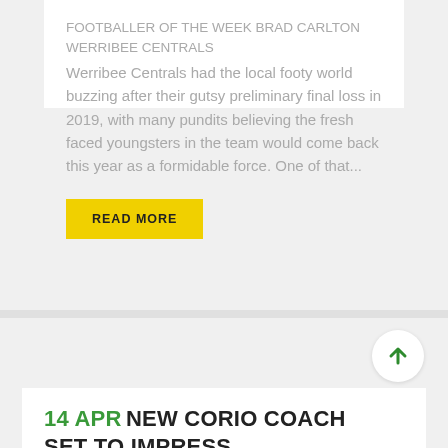FOOTBALLER OF THE WEEK BRAD CARLTON WERRIBEE CENTRALS Werribee Centrals had the local footy world buzzing after their gutsy preliminary final loss in 2019, with many pundits believing the fresh faced youngsters in the team would come back this year as a formidable force. One of that...
READ MORE
14 APR NEW CORIO COACH SET TO IMPRESS